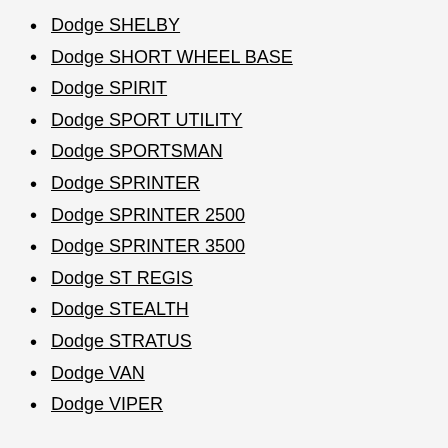Dodge SHELBY
Dodge SHORT WHEEL BASE
Dodge SPIRIT
Dodge SPORT UTILITY
Dodge SPORTSMAN
Dodge SPRINTER
Dodge SPRINTER 2500
Dodge SPRINTER 3500
Dodge ST REGIS
Dodge STEALTH
Dodge STRATUS
Dodge VAN
Dodge VIPER